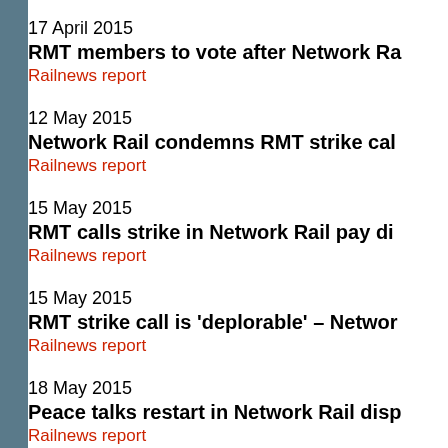17 April 2015
RMT members to vote after Network Ra...
Railnews report
12 May 2015
Network Rail condemns RMT strike cal...
Railnews report
15 May 2015
RMT calls strike in Network Rail pay di...
Railnews report
15 May 2015
RMT strike call is 'deplorable' – Networ...
Railnews report
18 May 2015
Peace talks restart in Network Rail disp...
Railnews report
21 May 2015
It's off! TSSA, RMT suspend Bank Holi...
Railnews report